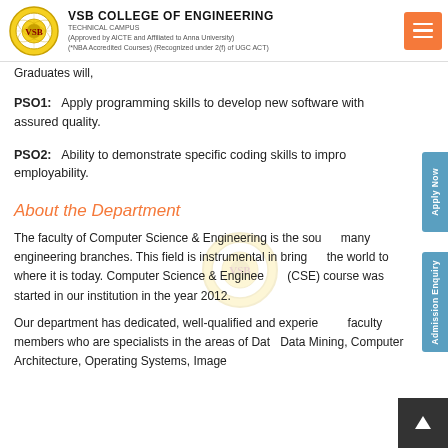VSB COLLEGE OF ENGINEERING TECHNICAL CAMPUS (Approved by AICTE and Affiliated to Anna University) (*NBA Accredited Courses) (Recognized under 2(f) of UGC ACT)
Graduates will,
PSO1: Apply programming skills to develop new software with assured quality.
PSO2: Ability to demonstrate specific coding skills to improve employability.
About the Department
The faculty of Computer Science & Engineering is the soul of many engineering branches. This field is instrumental in bringing the world to where it is today. Computer Science & Engineering (CSE) course was started in our institution in the year 2012.
Our department has dedicated, well-qualified and experienced faculty members who are specialists in the areas of Data Mining, Data Mining, Computer Architecture, Operating Systems, Image